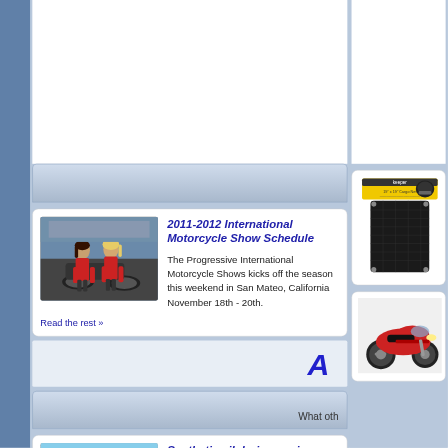[Figure (photo): Photo of two women in red shirts posing on motorcycles]
2011-2012 International Motorcycle Show Schedule
The Progressive International Motorcycle Shows kicks off the season this weekend in San Mateo, California November 18th - 20th.
Read the rest »
[Figure (photo): Product photo: cargo net in packaging]
[Figure (photo): Advertisement banner with large italic A]
What oth
[Figure (photo): Photo of a modern building exterior]
Synthetic oil during engine break-in? Here's what the oil manufacturers say...
I've heard it said that one should not use synthetic oil during break-in, because it can impair proper wear-in of the rings and other moving parts.
[Figure (photo): Photo of red sport motorcycle]